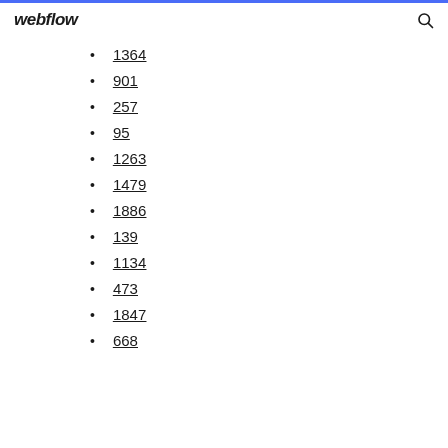webflow
1364
901
257
95
1263
1479
1886
139
1134
473
1847
668